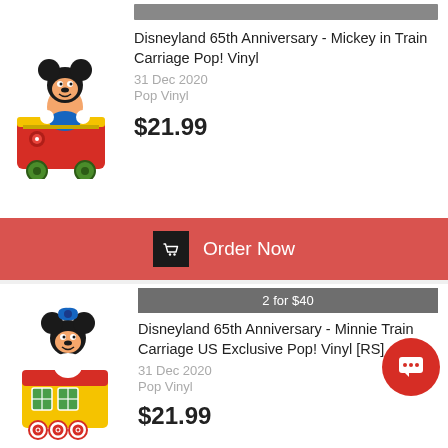[Figure (photo): Mickey Mouse Funko Pop vinyl figure sitting in a red and yellow decorative train carriage]
Disneyland 65th Anniversary - Mickey in Train Carriage Pop! Vinyl
31 Dec 2020
Pop Vinyl
$21.99
Order Now
2 for $40
[Figure (photo): Minnie Mouse Funko Pop vinyl figure sitting on top of a colorful train carriage]
Disneyland 65th Anniversary - Minnie Train Carriage US Exclusive Pop! Vinyl [RS]
31 Dec 2020
Pop Vinyl
$21.99